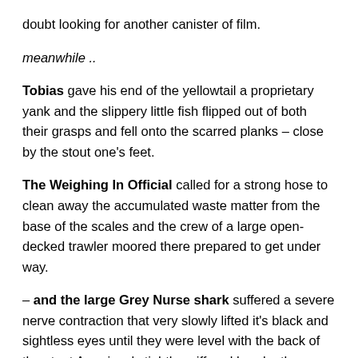doubt looking for another canister of film.
meanwhile ..
Tobias gave his end of the yellowtail a proprietary yank and the slippery little fish flipped out of both their grasps and fell onto the scarred planks – close by the stout one's feet.
The Weighing In Official called for a strong hose to clean away the accumulated waste matter from the base of the scales and the crew of a large open-decked trawler moored there prepared to get under way.
– and the large Grey Nurse shark suffered a severe nerve contraction that very slowly lifted it's black and sightless eyes until they were level with the back of the stout American's tightly coiffured head – the mouth an ever